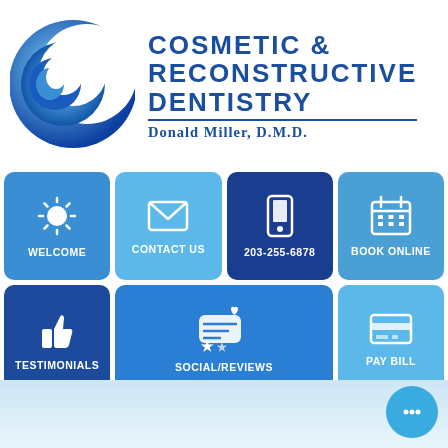[Figure (logo): Blue crescent/C-shape logo for Cosmetic & Reconstructive Dentistry dental practice]
COSMETIC & RECONSTRUCTIVE DENTISTRY
Donald Miller, D.M.D.
[Figure (infographic): Grid of 7 navigation buttons: WELCOME (sun icon), CONTACT US (envelope icon), 203-255-6878 (phone icon), BOOK ONLINE (calendar icon), TESTIMONIALS (thumbs up icon), SOCIAL/REVIEWS (social/heart/star icon), PAY BILL (credit card icon), plus a chat bubble in bottom right corner]